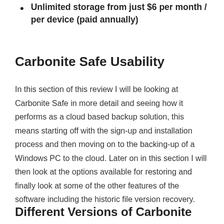Unlimited storage from just $6 per month / per device (paid annually)
Carbonite Safe Usability
In this section of this review I will be looking at Carbonite Safe in more detail and seeing how it performs as a cloud based backup solution, this means starting off with the sign-up and installation process and then moving on to the backing-up of a Windows PC to the cloud. Later on in this section I will then look at the options available for restoring and finally look at some of the other features of the software including the historic file version recovery.
Different Versions of Carbonite